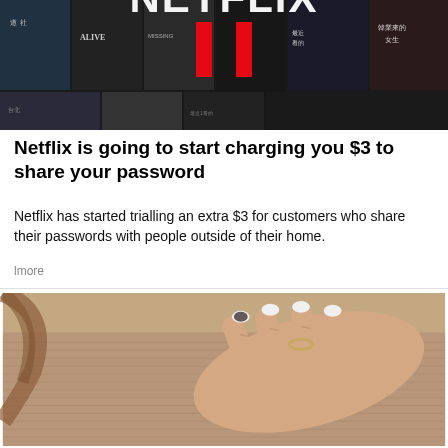[Figure (photo): Netflix logo with red N symbol overlaid on a collage of movie/TV show thumbnails including text in Chinese characters, English titles 'ALIVE' and others, dark background]
Netflix is going to start charging you $3 to share your password
Netflix has started trialling an extra $3 for customers who share their passwords with people outside of their home.
lmore
[Figure (photo): Close-up photo of a woman's hand resting on her torso/stomach, wearing a brown/mauve ribbed top, white painted nails, ring on finger]